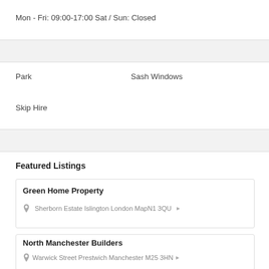Mon - Fri: 09:00-17:00 Sat / Sun: Closed
Park
Sash Windows
Skip Hire
Featured Listings
Green Home Property
Sherborn Estate Islington London MapN1 3QU ▸
North Manchester Builders
Warwick Street Prestwich Manchester M25 3HN ▸